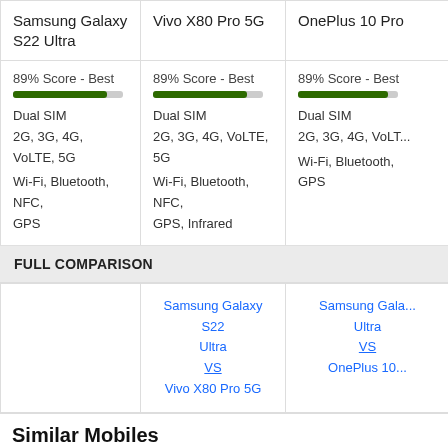| Samsung Galaxy S22 Ultra | Vivo X80 Pro 5G | OnePlus 10 Pro |
| --- | --- | --- |
| 89% Score - Best | 89% Score - Best | 89% Score - Best |
| Dual SIM | Dual SIM | Dual SIM |
| 2G, 3G, 4G, VoLTE, 5G | 2G, 3G, 4G, VoLTE, 5G | 2G, 3G, 4G, VoLT... |
| Wi-Fi, Bluetooth, NFC, GPS | Wi-Fi, Bluetooth, NFC, GPS, Infrared | Wi-Fi, Bluetooth, GPS |
FULL COMPARISON
|  | Samsung Galaxy S22 Ultra VS Vivo X80 Pro 5G | Samsung Galaxy S22 Ultra VS OnePlus 10... |
| --- | --- | --- |
Similar Mobiles